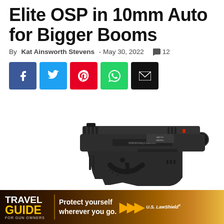Elite OSP in 10mm Auto for Bigger Booms
By Kat Ainsworth Stevens - May 30, 2022  💬 12
[Figure (other): Social media share buttons: Facebook (blue), Twitter (light blue), Pinterest (red), WhatsApp (green), Email (black)]
[Figure (photo): Springfield Armory pistol in 10mm Auto, dark/black finish, shown in profile on white background]
[Figure (other): Travel Guide for Gun Owners advertisement banner with US LawShield - text reads: Protect yourself wherever you go.]